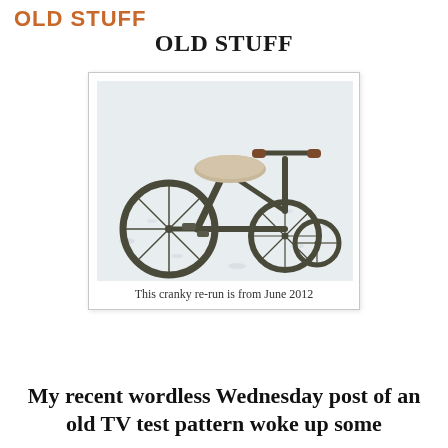OLD STUFF
OLD STUFF
[Figure (photo): An old rusty tricycle sitting on snow-covered ground, photographed from a slight angle showing all three wheels, handlebars with brown grips, and a worn beige seat.]
This cranky re-run is from June 2012
My recent wordless Wednesday post of an old TV test pattern woke up some